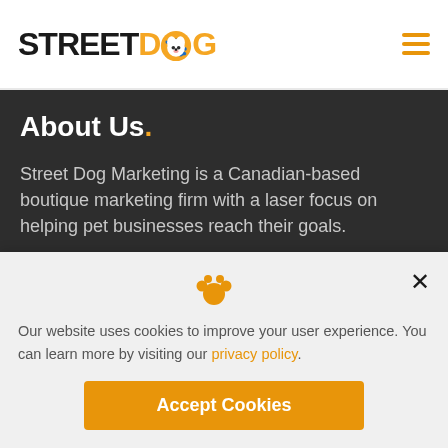STREETDOG
About Us.
Street Dog Marketing is a Canadian-based boutique marketing firm with a laser focus on helping pet businesses reach their goals.
Our website uses cookies to improve your user experience. You can learn more by visiting our privacy policy.
Accept Cookies